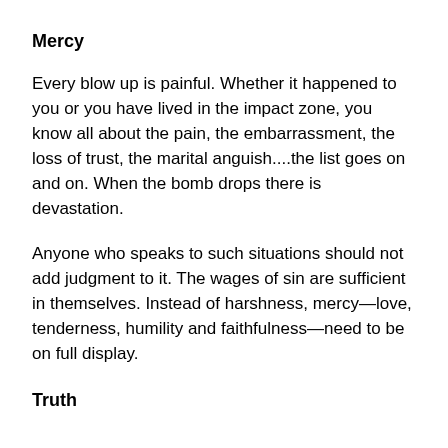Mercy
Every blow up is painful.  Whether it happened to you or you have lived in the impact zone, you know all about the pain, the embarrassment, the loss of trust, the marital anguish....the list goes on and on.  When the bomb drops there is devastation.
Anyone who speaks to such situations should not add judgment to it.  The wages of sin are sufficient in themselves.  Instead of harshness, mercy—love, tenderness, humility and faithfulness—need to be on full display.
Truth